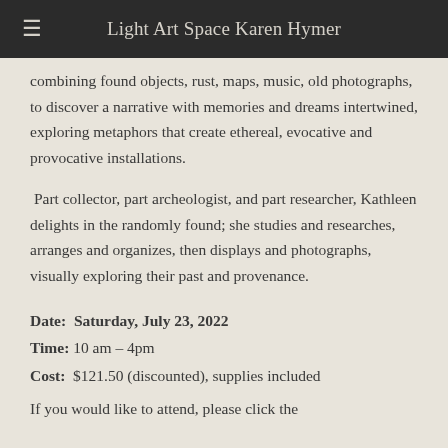≡  Light Art Space Karen Hymer
combining found objects, rust, maps, music, old photographs, to discover a narrative with memories and dreams intertwined, exploring metaphors that create ethereal, evocative and provocative installations.
Part collector, part archeologist, and part researcher, Kathleen delights in the randomly found; she studies and researches, arranges and organizes, then displays and photographs, visually exploring their past and provenance.
Date: Saturday, July 23, 2022
Time: 10 am – 4pm
Cost: $121.50 (discounted), supplies included
If you would like to attend, please click the